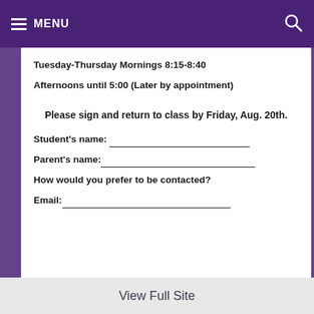MENU
Tuesday-Thursday Mornings 8:15-8:40
Afternoons until 5:00 (Later by appointment)
Please sign and return to class by Friday, Aug. 20th.
Student's name: ___________________________
Parent's name:____________________________
How would you prefer to be contacted?
Email:_____________________________________
View Full Site